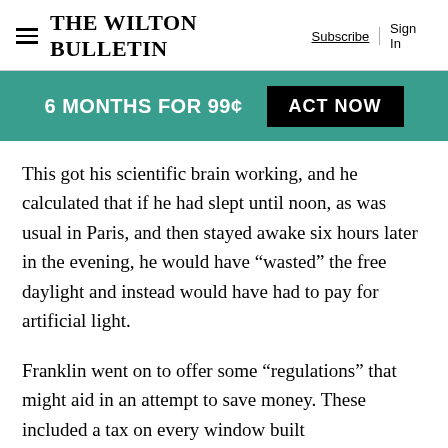The Wilton Bulletin | Subscribe | Sign In
[Figure (infographic): Teal promotional banner with text '6 MONTHS FOR 99¢' and a black 'ACT NOW' button]
This got his scientific brain working, and he calculated that if he had slept until noon, as was usual in Paris, and then stayed awake six hours later in the evening, he would have “wasted” the free daylight and instead would have had to pay for artificial light.
Franklin went on to offer some “regulations” that might aid in an attempt to save money. These included a tax on every window built